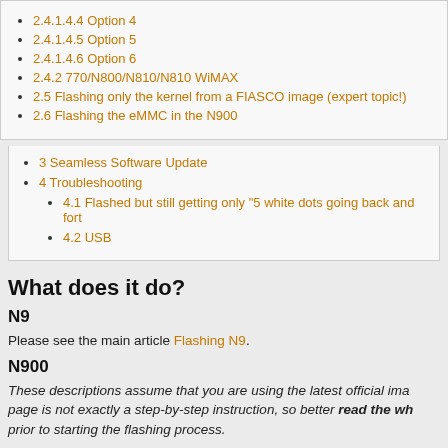2.4.1.4.4 Option 4
2.4.1.4.5 Option 5
2.4.1.4.6 Option 6
2.4.2 770/N800/N810/N810 WiMAX
2.5 Flashing only the kernel from a FIASCO image (expert topic!)
2.6 Flashing the eMMC in the N900
3 Seamless Software Update
4 Troubleshooting
4.1 Flashed but still getting only "5 white dots going back and fort
4.2 USB
What does it do?
N9
Please see the main article Flashing N9.
N900
These descriptions assume that you are using the latest official ima page is not exactly a step-by-step instruction, so better read the wh prior to starting the flashing process.
While talking about flashing, there are exactly two distinct processes a